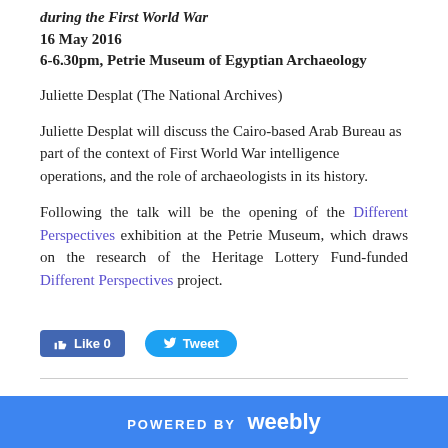during the First World War
16 May 2016
6-6.30pm, Petrie Museum of Egyptian Archaeology
Juliette Desplat (The National Archives)
Juliette Desplat will discuss the Cairo-based Arab Bureau as part of the context of First World War intelligence operations, and the role of archaeologists in its history.
Following the talk will be the opening of the Different Perspectives exhibition at the Petrie Museum, which draws on the research of the Heritage Lottery Fund-funded Different Perspectives project.
POWERED BY weebly